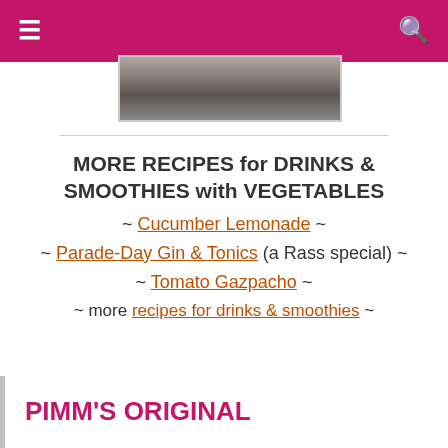≡  🔍
[Figure (photo): A photo of a stone or concrete surface, partially visible at top of page, cropped.]
MORE RECIPES for DRINKS & SMOOTHIES with VEGETABLES
~ Cucumber Lemonade ~
~ Parade-Day Gin & Tonics (a Rass special) ~
~ Tomato Gazpacho ~
~ more recipes for drinks & smoothies ~
PIMM'S ORIGINAL